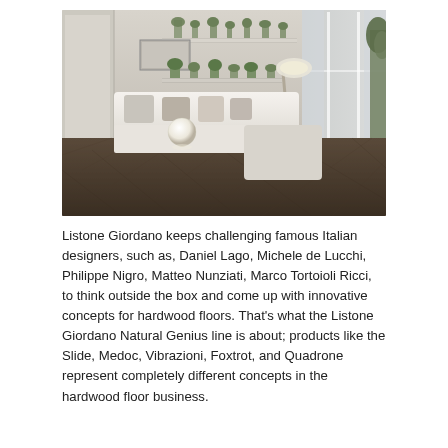[Figure (photo): Interior living room photo showing a modern white L-shaped sofa with decorative cushions, wall-mounted shelves with plants, large windows with sheer curtains, a glowing spherical floor lamp, and a herringbone-patterned dark hardwood floor in the foreground.]
Listone Giordano keeps challenging famous Italian designers, such as, Daniel Lago, Michele de Lucchi, Philippe Nigro, Matteo Nunziati, Marco Tortoioli Ricci, to think outside the box and come up with innovative concepts for hardwood floors. That's what the Listone Giordano Natural Genius line is about; products like the Slide, Medoc, Vibrazioni, Foxtrot, and Quadrone represent completely different concepts in the hardwood floor business.